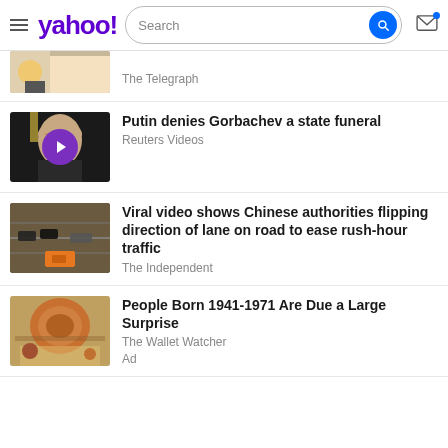yahoo! Search
The Telegraph
Putin denies Gorbachev a state funeral
Reuters Videos
Viral video shows Chinese authorities flipping direction of lane on road to ease rush-hour traffic
The Independent
People Born 1941-1971 Are Due a Large Surprise
The Wallet Watcher
Ad